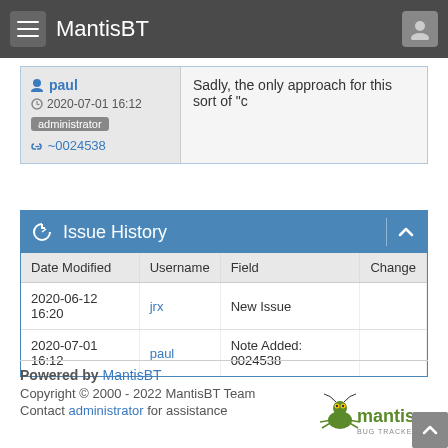MantisBT
paul
2020-07-01 16:12
administrator
~0024538
Sadly, the only approach for this sort of "c
Issue History
| Date Modified | Username | Field | Change |
| --- | --- | --- | --- |
| 2020-06-12 16:20 | jrx | New Issue |  |
| 2020-07-01 16:12 | paul | Note Added: 0024538 |  |
Powered by MantisBT
Copyright © 2000 - 2022 MantisBT Team
Contact administrator for assistance